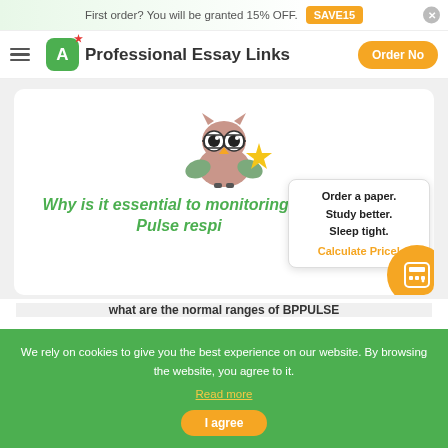First order? You will be granted 15% OFF. SAVE15
Professional Essay Links  Order Now
[Figure (illustration): Cartoon owl mascot holding a gold star, wearing glasses, with green leaves, sitting on a dark branch]
[Figure (other): White popup card: 'Order a paper. Study better. Sleep tight. Calculate Price!' with orange circle calculator icon]
Why is it essential to monitoring BP Pulse respi
what are the normal ranges of BPPULSE
We rely on cookies to give you the best experience on our website. By browsing the website, you agree to it. Read more
I agree